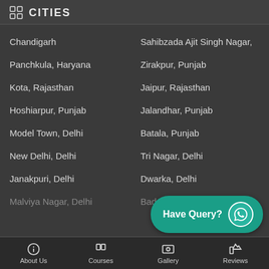CITIES
Chandigarh
Sahibzada Ajit Singh Nagar,
Panchkula, Haryana
Zirakpur, Punjab
Kota, Rajasthan
Jaipur, Rajasthan
Hoshiarpur, Punjab
Jalandhar, Punjab
Model Town, Delhi
Batala, Punjab
New Delhi, Delhi
Tri Nagar, Delhi
Janakpuri, Delhi
Dwarka, Delhi
Malviya Nagar, Delhi
Badarpur, Delhi
About Us   Courses   Gallery   Reviews